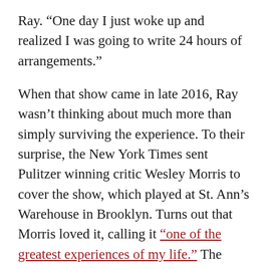Ray. “One day I just woke up and realized I was going to write 24 hours of arrangements.”
When that show came in late 2016, Ray wasn’t thinking about much more than simply surviving the experience. To their surprise, the New York Times sent Pulitzer winning critic Wesley Morris to cover the show, which played at St. Ann’s Warehouse in Brooklyn. Turns out that Morris loved it, calling it “one of the greatest experiences of my life.” The reach of the Times pushed Mac and company into a new level of social consciousness.